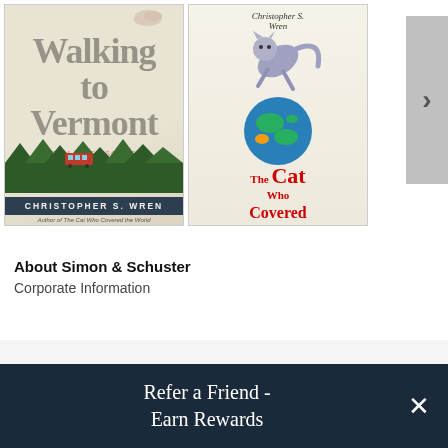[Figure (illustration): Book cover: 'Walking to Vermont: From Times Square into the Green Mountains — A Homeward Adventure' by Christopher S. Wren. Features large serif title text, decorative shoes at top, forest silhouette at bottom, dark banner with author name.]
[Figure (illustration): Book cover: 'The Cat Who Covered the World: The Adventures of Henrietta and Her Foreign Correspondent' by Christopher S. Wren. Features illustrated cat leaping over a globe, red decorative title text, quote at bottom.]
[Figure (other): Navigation arrow button (chevron >) on grey background for scrolling book carousel.]
About Simon & Schuster
Corporate Information
Refer a Friend - Earn Rewards